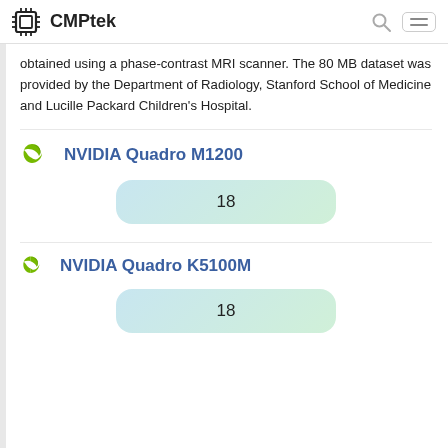CMPtek
obtained using a phase-contrast MRI scanner. The 80 MB dataset was provided by the Department of Radiology, Stanford School of Medicine and Lucille Packard Children's Hospital.
NVIDIA Quadro M1200
| Score |
| --- |
| 18 |
NVIDIA Quadro K5100M
| Score |
| --- |
| 18 |